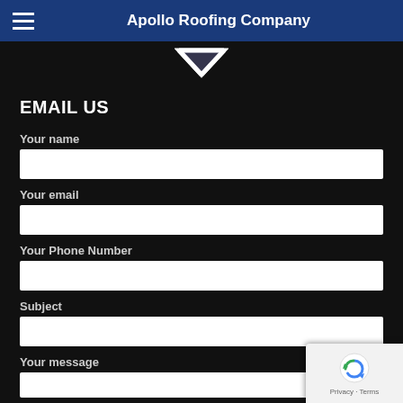Apollo Roofing Company
[Figure (logo): Apollo Roofing Company logo - chevron/arrow shape in white on dark background]
EMAIL US
Your name
Your email
Your Phone Number
Subject
Your message
[Figure (other): reCAPTCHA badge with Privacy and Terms links]